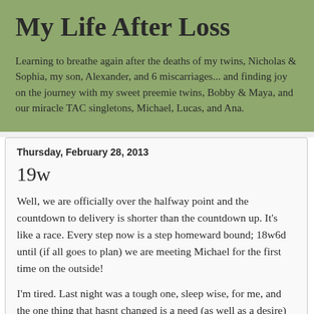My Life After Loss
Learning to breathe again after the deaths of my twins, Nicholas & Sophia, my son, Alexander, and 6 miscarriages... and finding joy on the journey with my sweet preemie twins, Bobby & Maya, and our miracle TAC singletons, Michael, Lucas, and Ana.
Thursday, February 28, 2013
19w
Well, we are officially over the halfway point and the countdown to delivery is shorter than the countdown up.  It's like a race.  Every step now is a step homeward bound; 18w6d until (if all goes to plan) we are meeting Michael for the first time on the outside!
I'm tired.  Last night was a tough one, sleep wise, for me, and the one thing that hasnt changed is a need (as well as a desire) for 10-12 hours of sleep a day (which, for me, is